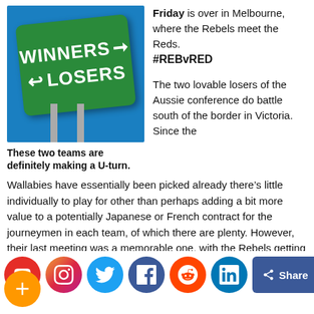[Figure (photo): A green road sign reading WINNERS with right arrow and LOSERS with left arrow, mounted on poles against a blue sky background.]
These two teams are definitely making a U-turn.
Friday is over in Melbourne, where the Rebels meet the Reds. #REBvRED
The two lovable losers of the Aussie conference do battle south of the border in Victoria. Since the Wallabies have essentially been picked already there’s little individually to play for other than perhaps adding a bit more value to a potentially Japanese or French contract for the journeymen in each team, of which there are plenty. However, their last meeting was a memorable one, with the Rebels getting up in a high-scoring affair up in Brisbane. Hopefully both teams give the fans a reason to part with their money and come watch them, this one could be a repeat in terms of